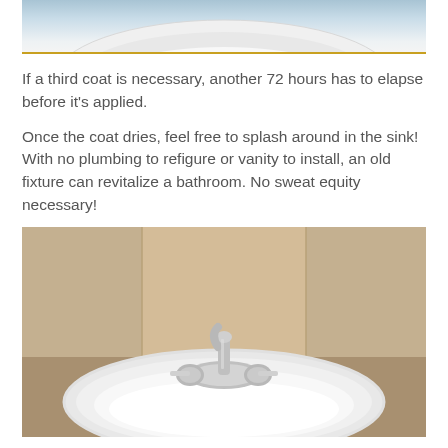[Figure (photo): Top portion of a white sink/bathtub fixture, cropped at top of page]
If a third coat is necessary, another 72 hours has to elapse before it's applied.
Once the coat dries, feel free to splash around in the sink! With no plumbing to refigure or vanity to install, an old fixture can revitalize a bathroom. No sweat equity necessary!
[Figure (photo): A white bathroom drop-in sink with chrome faucet and two handles, set in a beige countertop against a tan/beige wall]